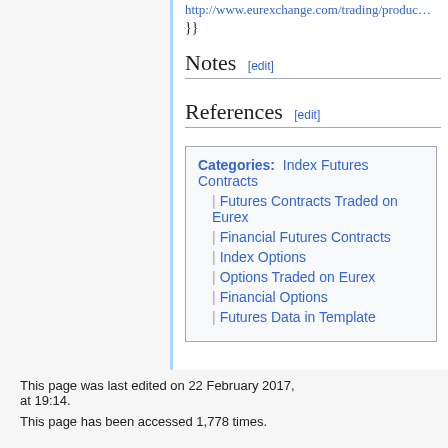http://www.eurexchange.com/trading/produc…
}}
Notes [edit]
References [edit]
Categories:  Index Futures Contracts | Futures Contracts Traded on Eurex | Financial Futures Contracts | Index Options | Options Traded on Eurex | Financial Options | Futures Data in Template
This page was last edited on 22 February 2017, at 19:14.
This page has been accessed 1,778 times.